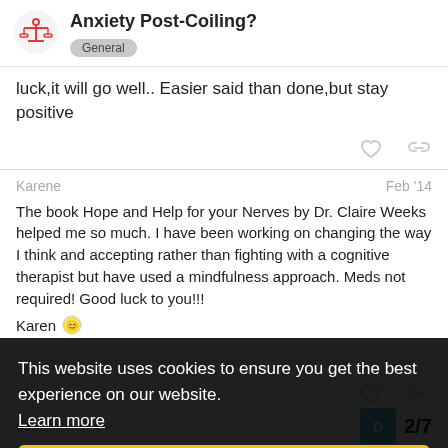Anxiety Post-Coiling? General
luck,it will go well.. Easier said than done,but stay positive
Karene  Feb '14
The book Hope and Help for your Nerves by Dr. Claire Weeks helped me so much. I have been working on changing the way I think and accepting rather than fighting with a cognitive therapist but have used a mindfulness approach. Meds not required! Good luck to you!!! Karen
This website uses cookies to ensure you get the best experience on our website. Learn more Got it!
2/7
deb2